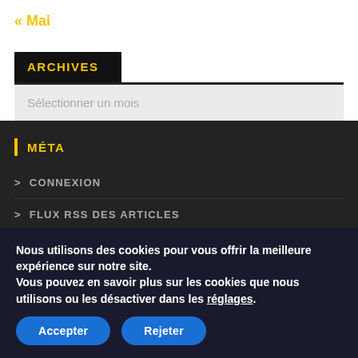« Mai
ARCHIVES
Sélectionner un mois
MÉTA
> CONNEXION
> FLUX RSS DES ARTICLES
Nous utilisons des cookies pour vous offrir la meilleure expérience sur notre site. Vous pouvez en savoir plus sur les cookies que nous utilisons ou les désactiver dans les réglages.
Accepter  Rejeter